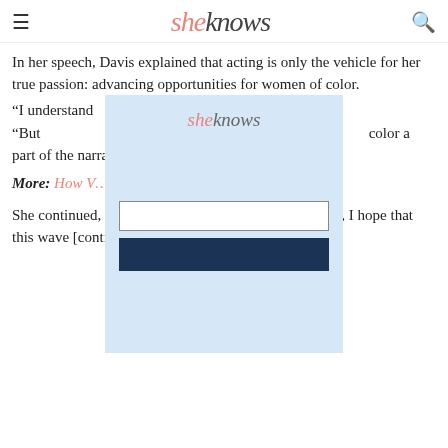sheknows
In her speech, Davis explained that acting is only the vehicle for her true passion: advancing opportunities for women of color.
[Figure (other): A modal/popup overlay with sheknows logo, an empty text input field, and a dark navy button, on a light blue background.]
“I understand … ence. I do,” she said. “But … ant art form. It is my missio… color a part of the narrativ…
More: How V… utes, moved SAG viewers
She continued, “I feel that come tomorrow, win or lose, I hope that this wave [continues] of seeing Taraji